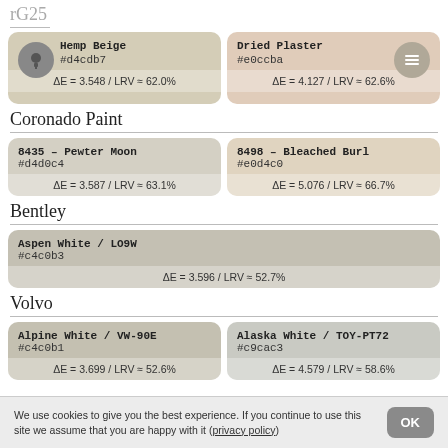[Figure (other): Two color swatches at top: Hemp Beige (#d4cdb7) and Dried Plaster (#e0ccba) with delta-E and LRV values — partially cropped at top]
Coronado Paint
| 8435 - Pewter Moon | 8498 - Bleached Burl |
| #d4d0c4 | #e0d4c0 |
| ΔE = 3.587 / LRV ≈ 63.1% | ΔE = 5.076 / LRV ≈ 66.7% |
Bentley
| Aspen White / LO9W |
| #c4c0b3 |
| ΔE = 3.596 / LRV ≈ 52.7% |
Volvo
| Alpine White / VW-90E | Alaska White / TOY-PT72 |
| #c4c0b1 | #c9cac3 |
| ΔE = 3.699 / LRV ≈ 52.6% | ΔE = 4.579 / LRV ≈ 58.6% |
We use cookies to give you the best experience. If you continue to use this site we assume that you are happy with it (privacy policy)